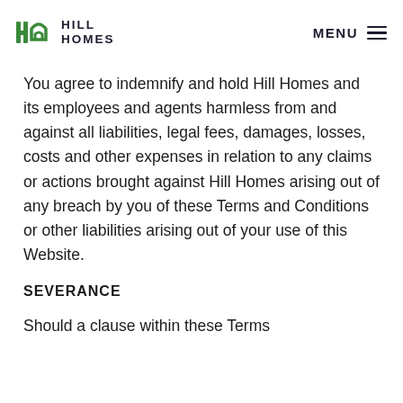HILL HOMES | MENU
You agree to indemnify and hold Hill Homes and its employees and agents harmless from and against all liabilities, legal fees, damages, losses, costs and other expenses in relation to any claims or actions brought against Hill Homes arising out of any breach by you of these Terms and Conditions or other liabilities arising out of your use of this Website.
SEVERANCE
Should a clause within these Terms